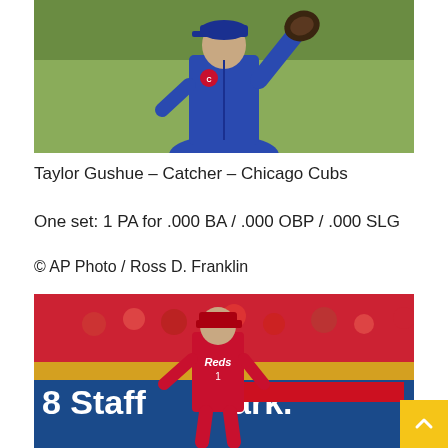[Figure (photo): Baseball player in blue Chicago Cubs uniform with glove raised, on a green field background]
Taylor Gushue – Catcher – Chicago Cubs
One set: 1 PA for .000 BA / .000 OBP / .000 SLG
© AP Photo / Ross D. Franklin
[Figure (photo): Baseball player in red Cincinnati Reds uniform standing on field, with Staffmark advertising banner visible, fans in background]